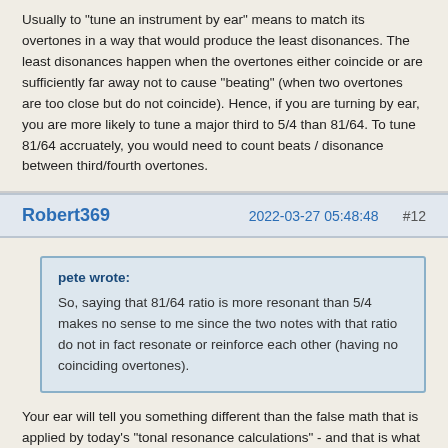Usually to "tune an instrument by ear" means to match its overtones in a way that would produce the least disonances. The least disonances happen when the overtones either coincide or are sufficiently far away not to cause "beating" (when two overtones are too close but do not coincide). Hence, if you are turning by ear, you are more likely to tune a major third to 5/4 than 81/64. To tune 81/64 accruately, you would need to count beats / disonance between third/fourth overtones.
Robert369
2022-03-27 05:48:48
#12
pete wrote: So, saying that 81/64 ratio is more resonant than 5/4 makes no sense to me since the two notes with that ratio do not in fact resonate or reinforce each other (having no coinciding overtones).
Your ear will tell you something different than the false math that is applied by today's "tonal resonance calculations" - and that is what counts and is reflected in the overtones.
And yes, the phythagorean system has some built-in dissonances,